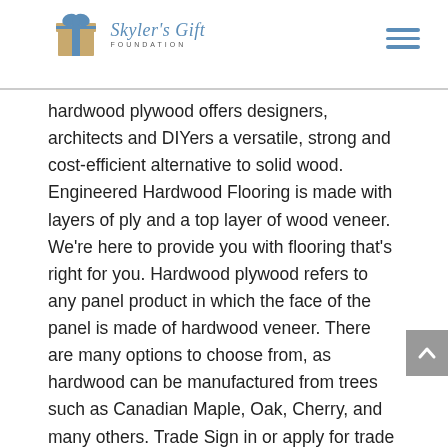Skyler's Gift FOUNDATION
hardwood plywood offers designers, architects and DIYers a versatile, strong and cost-efficient alternative to solid wood. Engineered Hardwood Flooring is made with layers of ply and a top layer of wood veneer. We're here to provide you with flooring that's right for you. Hardwood plywood refers to any panel product in which the face of the panel is made of hardwood veneer. There are many options to choose from, as hardwood can be manufactured from trees such as Canadian Maple, Oak, Cherry, and many others. Trade Sign in or apply for trade prices £ 22.48 inc VAT per sheet £ 7.55 per square metre. Read More . Solid hardwood floors are just that — they're made from solid wood. solid hardwood manufacturer/supplier, China solid hardwood manufacturer & factory list, find